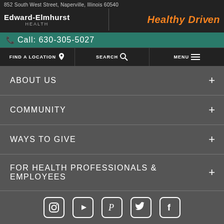852 South West Street, Naperville, Illinois 60540
Edward-Elmhurst HEALTH | Healthy Driven
Call: 630-305-5027
FIND A LOCATION
SEARCH
MENU
ABOUT US
COMMUNITY
WAYS TO GIVE
FOR HEALTH PROFESSIONALS & EMPLOYEES
[Figure (illustration): Social media icons row: Instagram, YouTube, Pinterest, Twitter, Facebook]